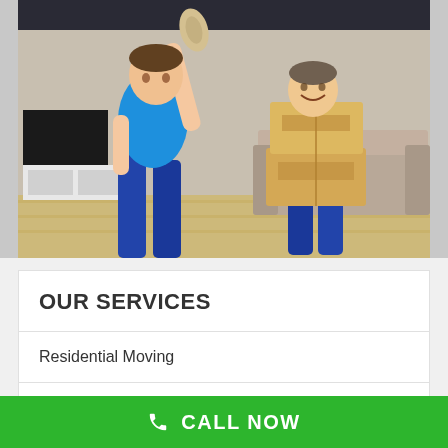[Figure (photo): Two movers in blue uniforms carrying cardboard boxes and a rolled carpet in a living room]
OUR SERVICES
Residential Moving
Commercial & Office Moving
CALL NOW